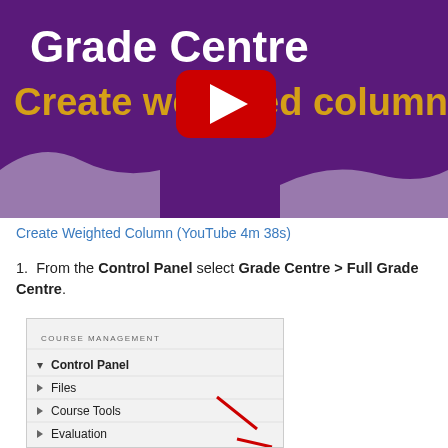[Figure (screenshot): YouTube video thumbnail showing 'Grade Centre - Create weighted column' with purple background, white title text, gold subtitle text, and YouTube play button overlay]
Create Weighted Column (YouTube 4m 38s)
From the Control Panel select Grade Centre > Full Grade Centre.
[Figure (screenshot): Blackboard Course Management panel showing Control Panel expanded with Files, Course Tools, and Evaluation items listed, with a red checkmark/arrow annotation]